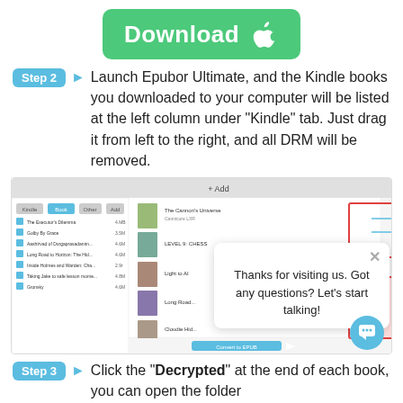[Figure (illustration): Green Download button with Apple logo]
Step 2 → Launch Epubor Ultimate, and the Kindle books you downloaded to your computer will be listed at the left column under "Kindle" tab. Just drag it from left to the right, and all DRM will be removed.
[Figure (screenshot): Screenshot of Epubor Ultimate software showing Kindle books listed on the left with a Drag & Drop button, and a chat popup saying 'Thanks for visiting us. Got any questions? Let's start talking!']
Step 3 → Click the "Decrypted" at the end of each book, you can open the folder